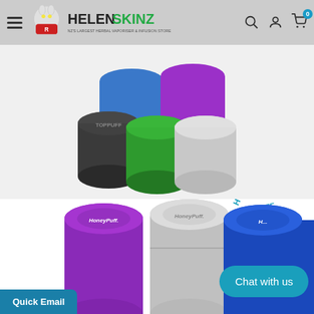Helenskinz - NZ's Largest Herbal Vaporiser & Infusion Store
[Figure (photo): Five cylindrical stash tins in different colors (black, blue, green, purple, silver/white) with textured lids, shown from a slightly overhead angle on a white background. Labeled TOPPUFF on the black tin.]
[Figure (photo): Toppuff Stash Tins Large product image showing three large cylindrical tins in purple, silver, and blue with HoneyPuff branding on lids, with HONEYPUFF text arc above, on white background.]
TOPPUFF STASH TINS
LARGE
Chat with us
Quick Email